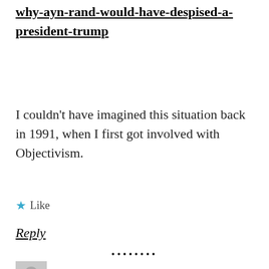why-ayn-rand-would-have-despised-a-president-trump
I couldn't have imagined this situation back in 1991, when I first got involved with Objectivism.
★ Like
Reply
••••••••
Roderick Tracy Long